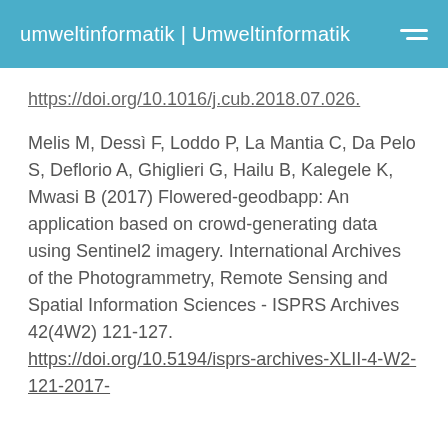umweltinformatik | Umweltinformatik
https://doi.org/10.1016/j.cub.2018.07.026.
Melis M, Dessì F, Loddo P, La Mantia C, Da Pelo S, Deflorio A, Ghiglieri G, Hailu B, Kalegele K, Mwasi B (2017) Flowered-geodbapp: An application based on crowd-generating data using Sentinel2 imagery. International Archives of the Photogrammetry, Remote Sensing and Spatial Information Sciences - ISPRS Archives 42(4W2) 121-127. https://doi.org/10.5194/isprs-archives-XLII-4-W2-121-2017-